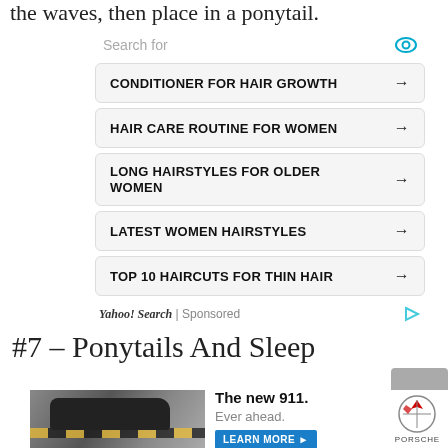the waves, then place in a ponytail.
[Figure (screenshot): Yahoo Search sponsored ad block with search bar and five search result links: CONDITIONER FOR HAIR GROWTH, HAIR CARE ROUTINE FOR WOMEN, LONG HAIRSTYLES FOR OLDER WOMEN, LATEST WOMEN HAIRSTYLES, TOP 10 HAIRCUTS FOR THIN HAIR. Footer shows 'Yahoo! Search | Sponsored' with play icon.]
#7 – Ponytails And Sleep
[Figure (screenshot): Porsche advertisement banner showing a sports car (the new 911) on a road with headline 'The new 911. Ever ahead.' and a LEARN MORE button, plus Porsche logo.]